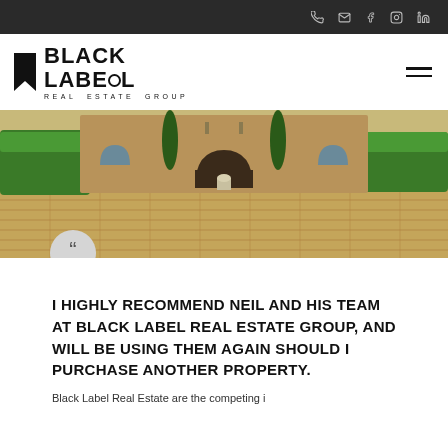Navigation icons: phone, email, facebook, instagram, linkedin
[Figure (logo): Black Label Real Estate Group logo with bookmark icon]
[Figure (photo): Luxury home exterior with paver driveway, green hedges and stone facade]
I HIGHLY RECOMMEND NEIL AND HIS TEAM AT BLACK LABEL REAL ESTATE GROUP, AND WILL BE USING THEM AGAIN SHOULD I PURCHASE ANOTHER PROPERTY.
Black Label Real Estate are the competing i